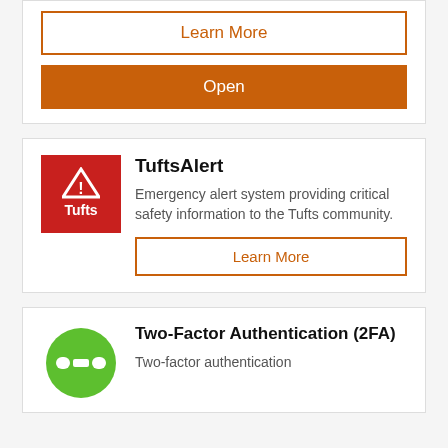[Figure (screenshot): Top card partial view with Learn More outline button and orange Open button]
Learn More
Open
[Figure (logo): TuftsAlert logo: red rectangle with white warning triangle and Tufts text]
TuftsAlert
Emergency alert system providing critical safety information to the Tufts community.
Learn More
[Figure (logo): Duo Security logo: green circle with white Duo icon]
Two-Factor Authentication (2FA)
Two-factor authentication